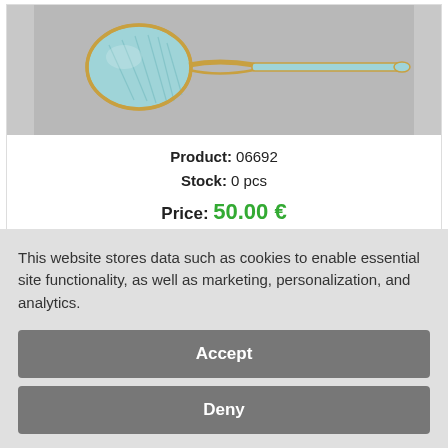[Figure (photo): Photo of a decorative enamel and silver spoon with light blue enamel bowl, on a grey background. The spoon has a golden/brass colored metal frame and handle.]
Product: 06692
Stock: 0 pcs
Price: 50.00 €
Tillander, enamel / silver spoon, Sterling Finland
This website stores data such as cookies to enable essential site functionality, as well as marketing, personalization, and analytics.
Accept
Deny